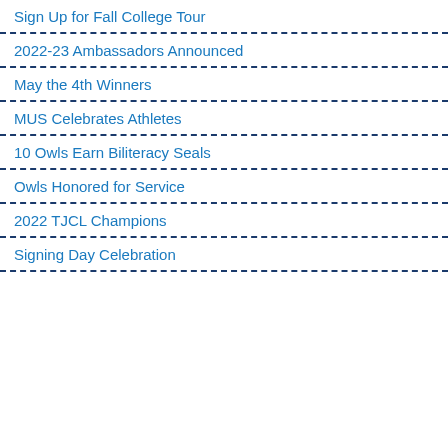Sign Up for Fall College Tour
2022-23 Ambassadors Announced
May the 4th Winners
MUS Celebrates Athletes
10 Owls Earn Biliteracy Seals
Owls Honored for Service
2022 TJCL Champions
Signing Day Celebration